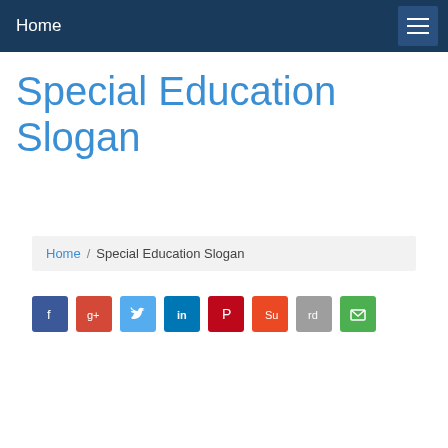Home
Special Education Slogan
Home / Special Education Slogan
[Figure (infographic): Row of 8 social sharing icon buttons: Facebook (blue), Google+ (red-orange), Twitter (light blue), LinkedIn (dark blue), Pinterest (dark red), StumbleUpon (orange-red), Reddit (grey), Email (green)]